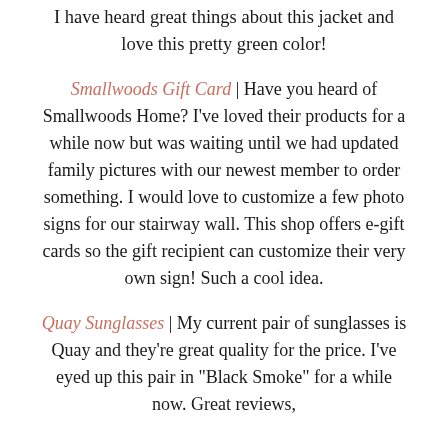I have heard great things about this jacket and love this pretty green color!
Smallwoods Gift Card | Have you heard of Smallwoods Home? I've loved their products for a while now but was waiting until we had updated family pictures with our newest member to order something. I would love to customize a few photo signs for our stairway wall. This shop offers e-gift cards so the gift recipient can customize their very own sign! Such a cool idea.
Quay Sunglasses | My current pair of sunglasses is Quay and they're great quality for the price. I've eyed up this pair in "Black Smoke" for a while now. Great reviews,